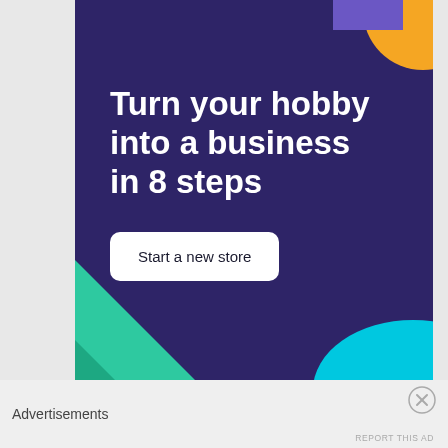[Figure (infographic): Advertisement banner with dark purple background, decorative geometric shapes in orange, teal, and light blue. Contains the headline 'Turn your hobby into a business in 8 steps' and a 'Start a new store' button.]
Advertisements
REPORT THIS AD